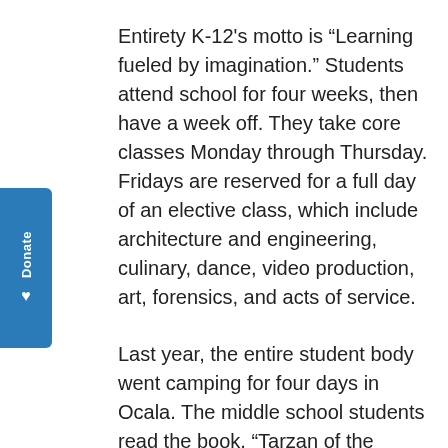Entirety K-12's motto is “Learning fueled by imagination.” Students attend school for four weeks, then have a week off. They take core classes Monday through Thursday. Fridays are reserved for a full day of an elective class, which include architecture and engineering, culinary, dance, video production, art, forensics, and acts of service.
Last year, the entire student body went camping for four days in Ocala. The middle school students read the book, “Tarzan of the Apes,” and Principal Penny Bryson wanted the students to experience what it